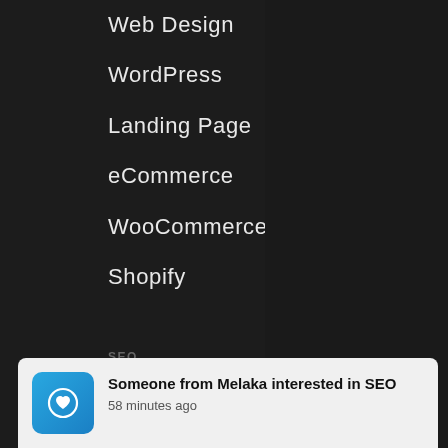Web Design
WordPress
Landing Page
eCommerce
WooCommerce
Shopify
SEO
Local SEO
Global SEO
WordPress SEO
eCommerce SEO
[Figure (screenshot): Notification overlay showing: blue heart icon app, text 'Someone from Melaka interested in SEO', '58 minutes ago']